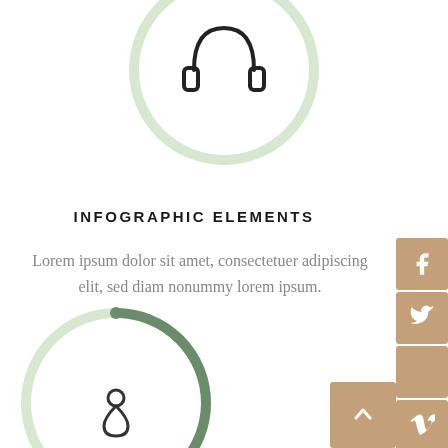[Figure (illustration): Large light green circle with headphones icon in the center, partially cropped at top]
INFOGRAPHIC ELEMENTS
Lorem ipsum dolor sit amet, consectetuer adipiscing elit, sed diam nonummy lorem ipsum.
[Figure (infographic): Social media icon buttons column on the right side: Facebook (f), Twitter bird, blank square, Vimeo (V), YouTube (play triangle); plus a scroll-to-top button with caret]
[Figure (illustration): Partially cropped circle at bottom with dark sage green arc (progress indicator) and a small person/location icon in the center]